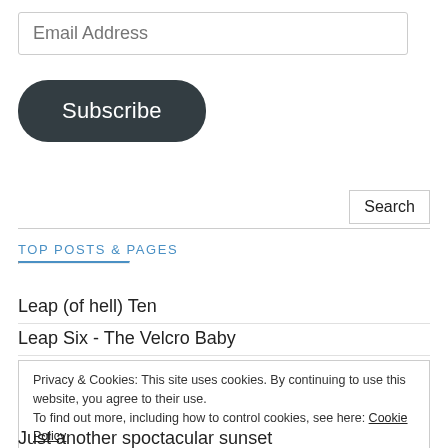Email Address
Subscribe
Search
TOP POSTS & PAGES
Leap (of hell) Ten
Leap Six - The Velcro Baby
Privacy & Cookies: This site uses cookies. By continuing to use this website, you agree to their use. To find out more, including how to control cookies, see here: Cookie Policy
Close and accept
Just another spoctacular sunset